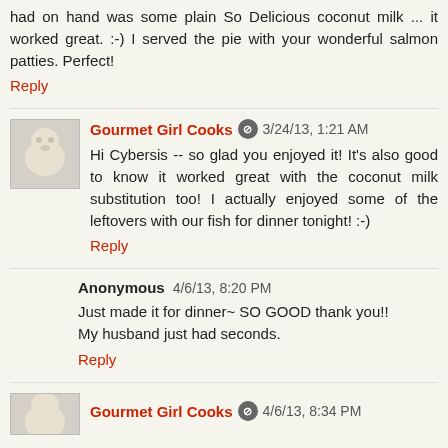had on hand was some plain So Delicious coconut milk ... it worked great. :-) I served the pie with your wonderful salmon patties. Perfect!
Reply
Gourmet Girl Cooks [mod icon] 3/24/13, 1:21 AM
Hi Cybersis -- so glad you enjoyed it! It's also good to know it worked great with the coconut milk substitution too! I actually enjoyed some of the leftovers with our fish for dinner tonight! :-)
Reply
Anonymous 4/6/13, 8:20 PM
Just made it for dinner~ SO GOOD thank you!!
My husband just had seconds.
Reply
Gourmet Girl Cooks [mod icon] 4/6/13, 8:34 PM